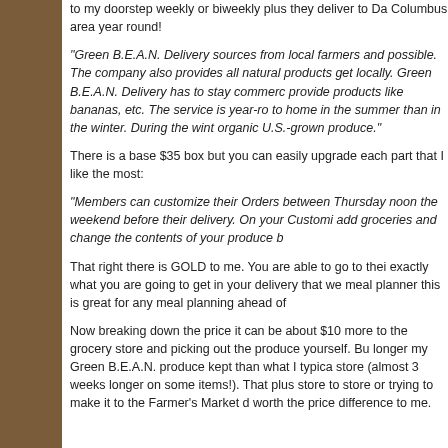to my doorstep weekly or biweekly plus they deliver to Da Columbus area year round!
"Green B.E.A.N. Delivery sources from local farmers and possible. The company also provides all natural products get locally. Green B.E.A.N. Delivery has to stay commerc provide products like bananas, etc. The service is year-ro to home in the summer than in the winter. During the win organic U.S.-grown produce."
There is a base $35 box but you can easily upgrade each part that I like the most:
"Members can customize their Orders between Thursday noon the weekend before their delivery. On your Customi add groceries and change the contents of your produce b
That right there is GOLD to me. You are able to go to thei exactly what you are going to get in your delivery that we meal planner this is great for any meal planning ahead of
Now breaking down the price it can be about $10 more to the grocery store and picking out the produce yourself. Bu longer my Green B.E.A.N. produce kept than what I typica store (almost 3 weeks longer on some items!). That plus store to store or trying to make it to the Farmer's Market d worth the price difference to me.